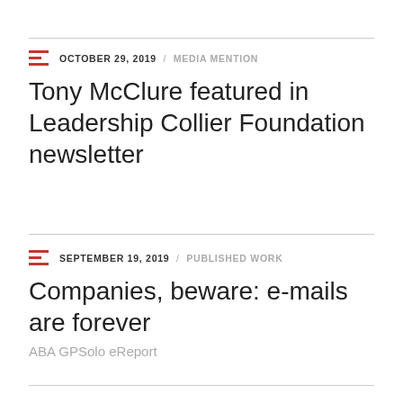OCTOBER 29, 2019 / MEDIA MENTION
Tony McClure featured in Leadership Collier Foundation newsletter
SEPTEMBER 19, 2019 / PUBLISHED WORK
Companies, beware: e-mails are forever
ABA GPSolo eReport